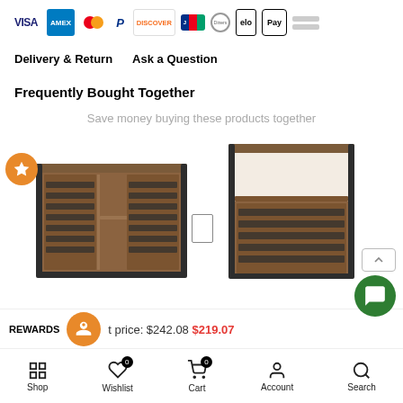[Figure (infographic): Payment method icons: VISA, AMEX, Mastercard, PayPal, Discover, JCB, Diners Club, elo, Apple Pay, and two gray placeholder bars]
Delivery & Return    Ask a Question
Frequently Bought Together
Save money buying these products together
[Figure (photo): TV stand / media console in rustic brown wood with slatted cabinet doors and black metal frame, with orange star badge overlay]
[Figure (photo): Side table / nightstand in rustic brown wood with slatted cabinet door and black metal frame, with open shelf on top]
[Figure (infographic): Green circular chat/message button in bottom right corner]
REWARDS  [cake icon]  t price: $242.08  $219.07
Shop   Wishlist 0   Cart 0   Account   Search